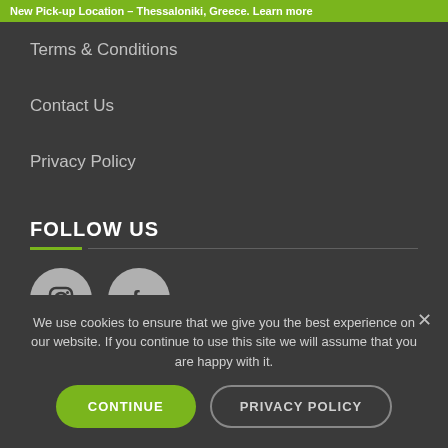New Pick-up Location – Thessaloniki, Greece. Learn more
Terms & Conditions
Contact Us
Privacy Policy
FOLLOW US
[Figure (illustration): Instagram and Facebook social media icons as grey circles with white logos]
We use cookies to ensure that we give you the best experience on our website. If you continue to use this site we will assume that you are happy with it.
CONTINUE | PRIVACY POLICY